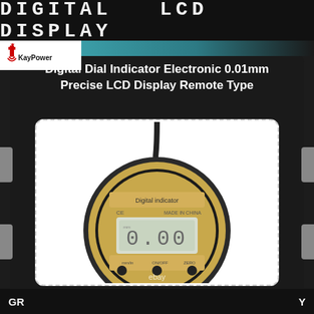DIGITAL LCD DISPLAY
[Figure (logo): KayPower brand logo with red torch/instrument icon and brand name in black text]
Digital Dial Indicator Electronic 0.01mm Precise LCD Display Remote Type
[Figure (photo): Digital Dial Indicator device - circular gold and black measuring instrument with LCD display showing 0.00, labeled 'Digital indicator', 'CE', 'MADE IN CHINA', with three buttons at bottom (mm/in, ON/OFF, ZERO) and a cable coming from top. eBay watermark visible.]
GR... ...Y